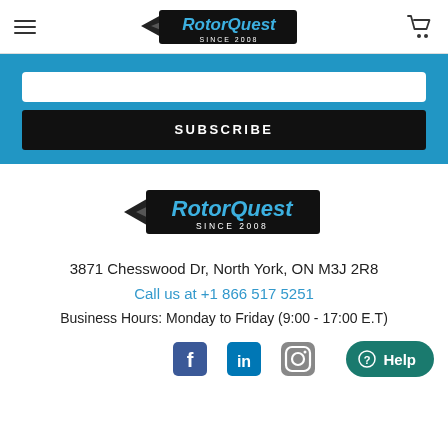[Figure (logo): RotorQuest logo in header with wings and 'SINCE 2008' text]
[Figure (other): SUBSCRIBE button black bar on blue background]
[Figure (logo): RotorQuest logo in footer with wings and 'SINCE 2008' text]
3871 Chesswood Dr, North York, ON M3J 2R8
Call us at +1 866 517 5251
Business Hours: Monday to Friday (9:00 - 17:00 E.T)
[Figure (other): Social media icons: Facebook, LinkedIn, Instagram and Help button]